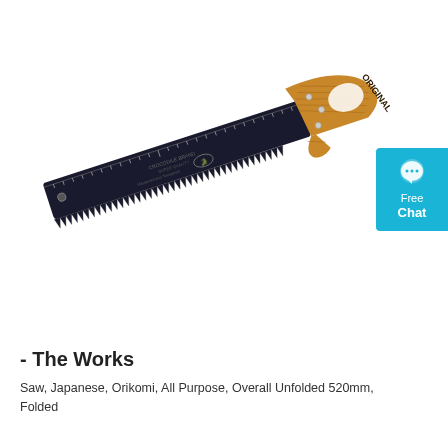[Figure (photo): A Japanese Orikomi hand saw with dark/black blade featuring a ruler scale along the top edge, fine teeth along the bottom edge, and a wooden handle with the word ORIGINAL engraved. The saw is photographed diagonally against a white background.]
- The Works
Saw, Japanese, Orikomi, All Purpose, Overall Unfolded 520mm, Folded